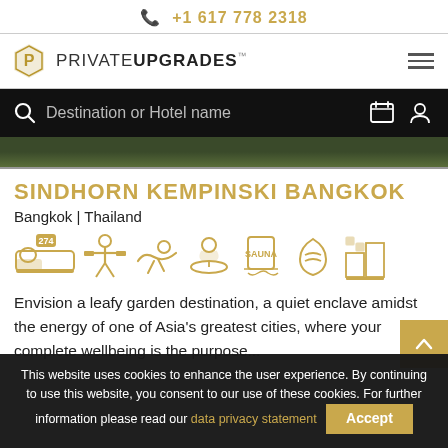📞 +1 617 778 2318
[Figure (logo): Private Upgrades logo with shield icon and text PRIVATEUPGRADES™]
[Figure (screenshot): Search bar with 'Destination or Hotel name' placeholder, calendar and user icons on black background]
[Figure (photo): Hotel garden/foliage image strip at top of content]
SINDHORN KEMPINSKI BANGKOK
Bangkok | Thailand
[Figure (infographic): Hotel amenity icons: 274 rooms (bed icon), gym, pool, spa/massage, sauna, wellness/spa hands, city view - all in gold color]
Envision a leafy garden destination, a quiet enclave amidst the energy of one of Asia's greatest cities, where your complete wellbeing is the purpose...
This website uses cookies to enhance the user experience. By continuing to use this website, you consent to our use of these cookies. For further information please read our data privacy statement  Accept